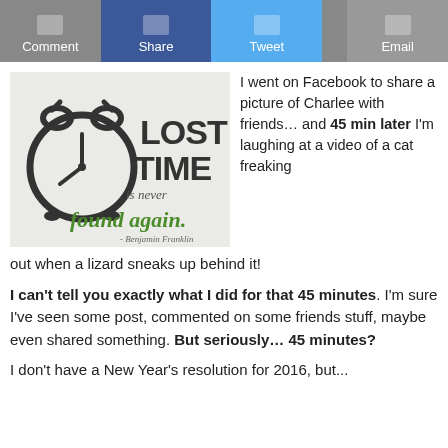Comment | Share | Tweet | Email
[Figure (illustration): Motivational quote image with alarm clock graphic and text: 'LOST TIME is never found again. - Benjamin Franklin']
I went on Facebook to share a picture of Charlee with friends… and 45 min later I'm laughing at a video of a cat freaking out when a lizard sneaks up behind it!
I can't tell you exactly what I did for that 45 minutes. I'm sure I've seen some post, commented on some friends stuff, maybe even shared something. But seriously… 45 minutes?
I don't have a New Year's resolution for 2016, but...